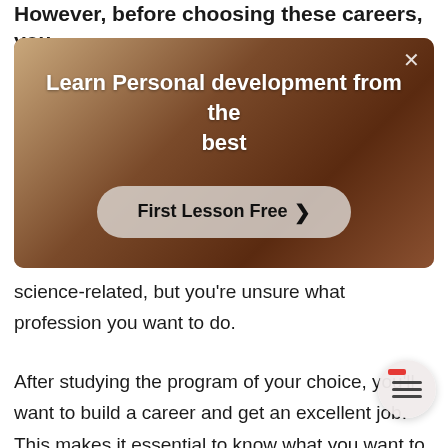However, before choosing these careers, you
[Figure (screenshot): Ad banner with dark reddish-brown background showing a person with arms spread. Text reads 'Learn Personal development from the best' with a 'First Lesson Free >' button and an X close button.]
science-related, but you're unsure what profession you want to do.
After studying the program of your choice, you'll want to build a career and get an excellent job.  This makes it essential to know what you want to do before going to college or signing up for a university program.